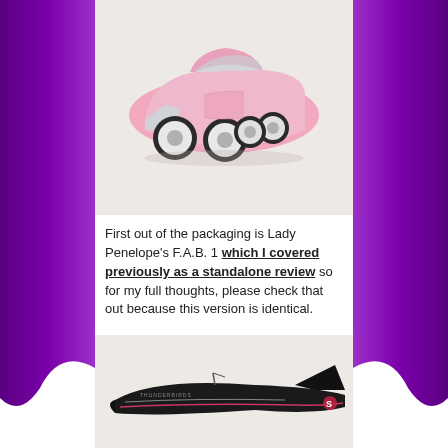[Figure (photo): Pink six-wheeled Lady Penelope FAB 1 toy car model on light background]
First out of the packaging is Lady Penelope's F.A.B. 1 which I covered previously as a standalone review so for my full thoughts, please check that out because this version is identical.
[Figure (photo): Black spacecraft or aircraft toy model, partially visible, on light background]